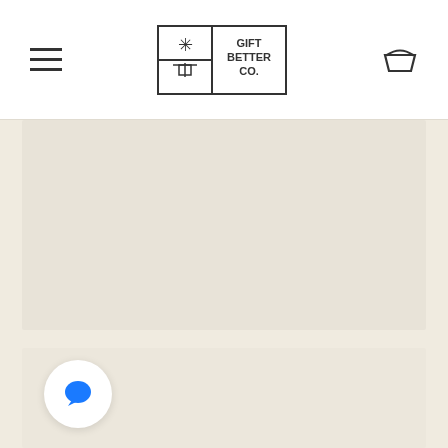Gift Better Co. — navigation header with hamburger menu and basket icon
[Figure (photo): Hero image placeholder area — light beige/cream colored rectangle]
3 Ways Financial Advisors Can Increase their Customer Retention Rates
[Figure (other): White circular chat bubble button with blue speech bubble icon]